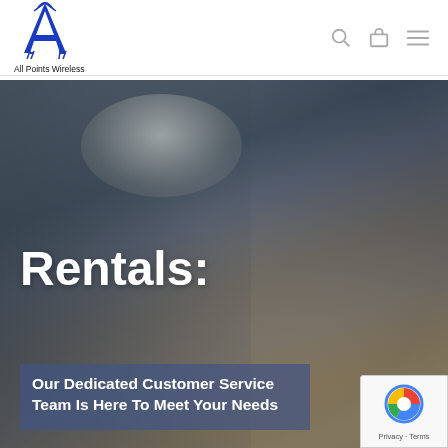[Figure (logo): All Points Wireless logo — blue letter A with antenna/signal icon above, text 'All Points Wireless' below]
[Figure (photo): Hero image of a construction worker in white hard hat looking sideways while holding a two-way radio/walkie-talkie. Text overlay reads 'Rentals:' and 'Our Dedicated Customer Service Team Is Here To Meet Your Needs']